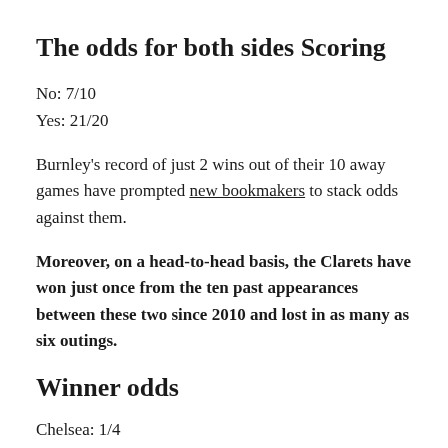The odds for both sides Scoring
No: 7/10
Yes: 21/20
Burnley's record of just 2 wins out of their 10 away games have prompted new bookmakers to stack odds against them.
Moreover, on a head-to-head basis, the Clarets have won just once from the ten past appearances between these two since 2010 and lost in as many as six outings.
Winner odds
Chelsea: 1/4